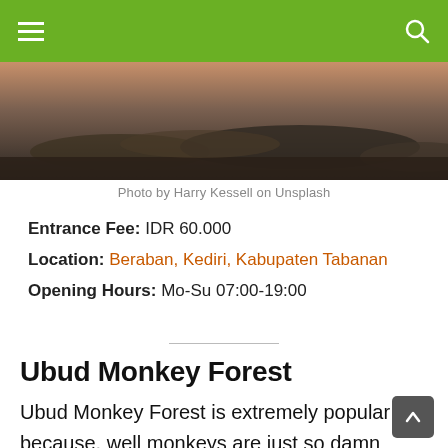Navigation bar with hamburger menu and search icon
[Figure (photo): Coastal landscape photo showing rocky shoreline with water and sunset tones]
Photo by Harry Kessell on Unsplash
Entrance Fee: IDR 60.000
Location: Beraban, Kediri, Kabupaten Tabanan
Opening Hours: Mo-Su 07:00-19:00
Ubud Monkey Forest
Ubud Monkey Forest is extremely popular because, well monkeys are just so damn cute. They have also earned a well-deserved reputation for being masterful thieves. It's best to leave sunglasses, handbags and anything you don't want to part with inside the tour